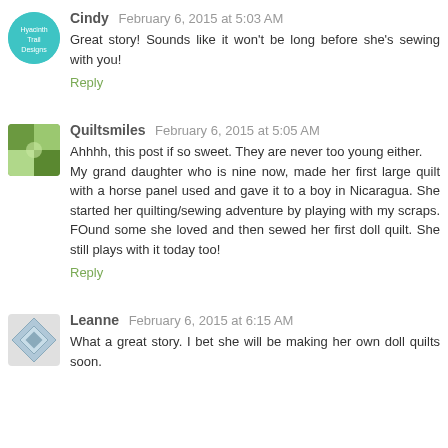Cindy  February 6, 2015 at 5:03 AM
Great story! Sounds like it won't be long before she's sewing with you!
Reply
Quiltsmiles  February 6, 2015 at 5:05 AM
Ahhhh, this post if so sweet. They are never too young either.
My grand daughter who is nine now, made her first large quilt with a horse panel used and gave it to a boy in Nicaragua. She started her quilting/sewing adventure by playing with my scraps. FOund some she loved and then sewed her first doll quilt. She still plays with it today too!
Reply
Leanne  February 6, 2015 at 6:15 AM
What a great story. I bet she will be making her own doll quilts soon.